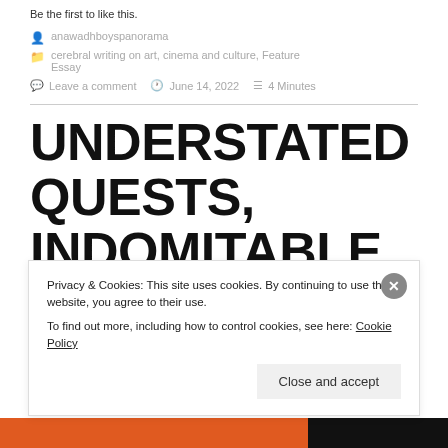Be the first to like this.
anawadhboyspanorama
cerebral writing on art, cinema and culture, Feature Essay
Leave a comment   June 14, 2022   4 Minutes
UNDERSTATED QUESTS, INDOMITABLE SPIRITS AND
Privacy & Cookies: This site uses cookies. By continuing to use this website, you agree to their use. To find out more, including how to control cookies, see here: Cookie Policy
Close and accept